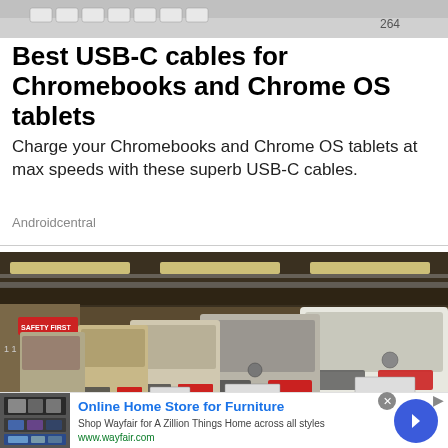[Figure (photo): Partial top strip showing a keyboard or device, cropped]
Best USB-C cables for Chromebooks and Chrome OS tablets
Charge your Chromebooks and Chrome OS tablets at max speeds with these superb USB-C cables.
Androidcentral
[Figure (photo): Parking garage with rows of white and silver Mercedes-Benz SUVs lined up, viewed from behind, with yellow overhead lighting and a SAFETY FIRST sign visible on the wall]
Online Home Store for Furniture
Shop Wayfair for A Zillion Things Home across all styles
www.wayfair.com